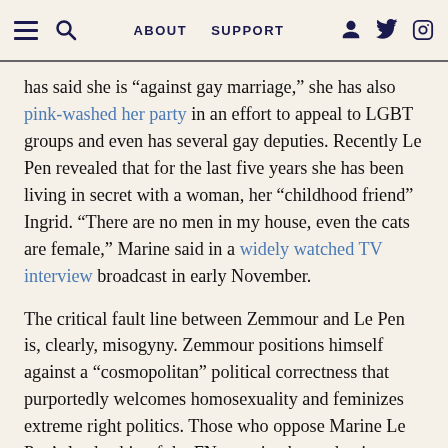≡ 🔍 ABOUT SUPPORT [user icon] [twitter icon] [instagram icon]
has said she is “against gay marriage,” she has also pink-washed her party in an effort to appeal to LGBT groups and even has several gay deputies. Recently Le Pen revealed that for the last five years she has been living in secret with a woman, her “childhood friend” Ingrid. “There are no men in my house, even the cats are female,” Marine said in a widely watched TV interview broadcast in early November.
The critical fault line between Zemmour and Le Pen is, clearly, misogyny. Zemmour positions himself against a “cosmopolitan” political correctness that purportedly welcomes homosexuality and feminizes extreme right politics. Those who oppose Marine Le Pen’s leadership of the FN perceive her as having emasculated her daddy’s once-great party.